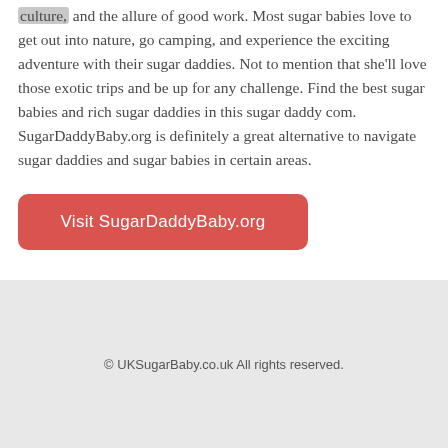culture, and the allure of good work. Most sugar babies love to get out into nature, go camping, and experience the exciting adventure with their sugar daddies. Not to mention that she'll love those exotic trips and be up for any challenge. Find the best sugar babies and rich sugar daddies in this sugar daddy com. SugarDaddyBaby.org is definitely a great alternative to navigate sugar daddies and sugar babies in certain areas.
Visit SugarDaddyBaby.org
© UKSugarBaby.co.uk All rights reserved.